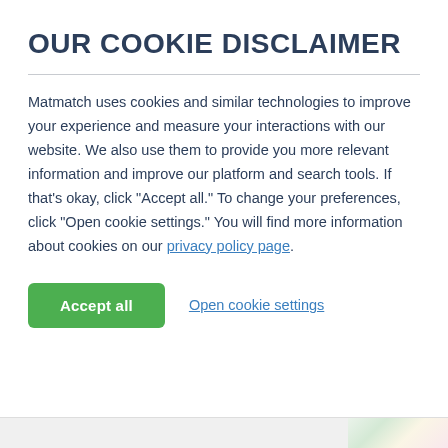OUR COOKIE DISCLAIMER
Matmatch uses cookies and similar technologies to improve your experience and measure your interactions with our website. We also use them to provide you more relevant information and improve our platform and search tools. If that’s okay, click “Accept all.” To change your preferences, click “Open cookie settings.” You will find more information about cookies on our privacy policy page.
Accept all | Open cookie settings